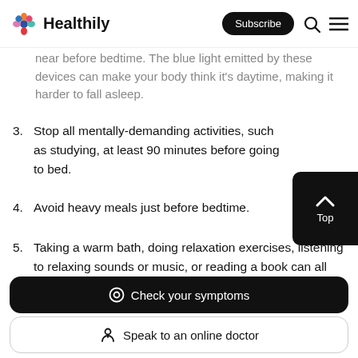Healthily | Subscribe
…near before bedtime. The blue light emitted by these devices can make your body think it's daytime, making it harder to fall asleep.
3. Stop all mentally-demanding activities, such as studying, at least 90 minutes before going to bed.
4. Avoid heavy meals just before bedtime.
5. Taking a warm bath, doing relaxation exercises, listening to relaxing sounds or music, or reading a book can all help to calm your body and mind.
Check your symptoms
Speak to an online doctor